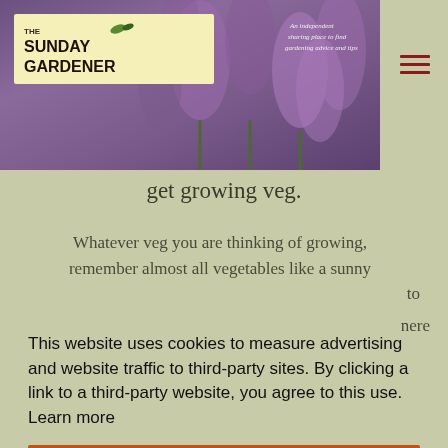[Figure (photo): The Sunday Gardener website header banner with purple flowers background and yellow logo box]
get growing veg.
Whatever veg you are thinking of growing, remember almost all vegetables like a sunny to here
This website uses cookies to measure advertising and website traffic to third-party sites. By clicking a link to a third-party website, you agree to this use. Learn more
Got it!